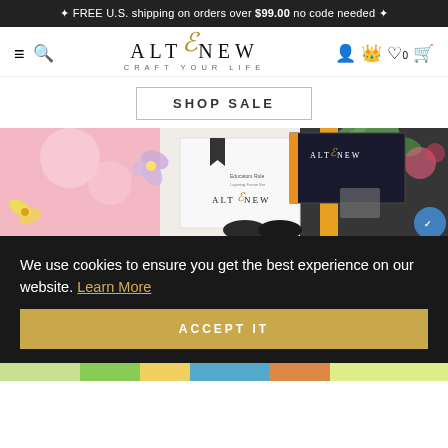✦ FREE U.S. shipping on orders over $99.00 no code needed ✦
[Figure (logo): Altenew logo with decorative ampersand in gold, subtitle CRAFT YOUR LIFE, navigation icons including hamburger menu, search, account, crown, wishlist (0), and cart]
SHOP SALE
[Figure (photo): Hero banner showing Altenew craft products including stamp sets, ink pads, and packaging with floral watercolor backgrounds in pink, green and dark navy tones. Products labeled Educators Rule and Altenew branding visible.]
We use cookies to ensure you get the best experience on our website. Learn More
ACCEPT IT